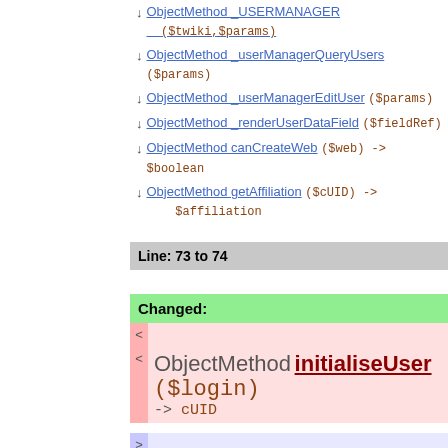↓ ObjectMethod _USERMANAGER ($twiki,$params)
↓ ObjectMethod _userManagerQueryUsers ($params)
↓ ObjectMethod _userManagerEditUser ($params)
↓ ObjectMethod _renderUserDataField ($fieldRef)
↓ ObjectMethod canCreateWeb ($web) -> $boolean
↓ ObjectMethod getAffiliation ($cUID) -> $affiliation
Line: 73 to 74
Changed:
< ObjectMethod initialiseUser ($login) -> cUID
> ObjectMethod initialiseUser ($login) -> $cUID